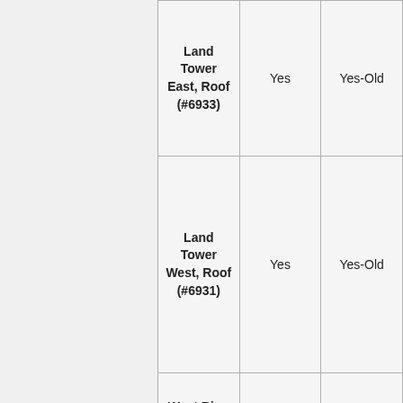| Location | Column2 | Column3 |
| --- | --- | --- |
| Land Tower East, Roof (#6933) | Yes | Yes-Old |
| Land Tower West, Roof (#6931) | Yes | Yes-Old |
| West Ring Road | Yes | Yes-Old |